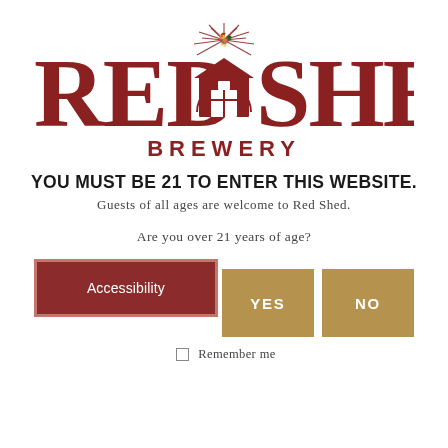[Figure (logo): Red Shed Brewery logo: large red serif text 'RED SHED' flanking a barn illustration with rooster weathervane and radiating lines, 'BREWERY' in smaller red caps below]
YOU MUST BE 21 TO ENTER THIS WEBSITE.
Guests of all ages are welcome to Red Shed.
Are you over 21 years of age?
Accessibility
YES
NO
Remember me